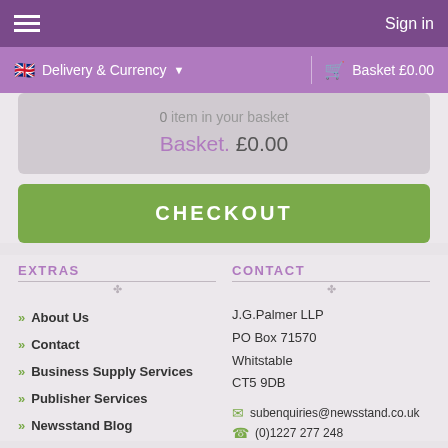Sign in
Delivery & Currency   Basket £0.00
0 item in your basket
Basket. £0.00
CHECKOUT
EXTRAS
CONTACT
About Us
Contact
Business Supply Services
Publisher Services
Newsstand Blog
J.G.Palmer LLP
PO Box 71570
Whitstable
CT5 9DB
subenquiries@newsstand.co.uk
(0)1227 277 248